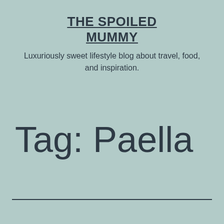THE SPOILED MUMMY
Luxuriously sweet lifestyle blog about travel, food, and inspiration.
Tag: Paella